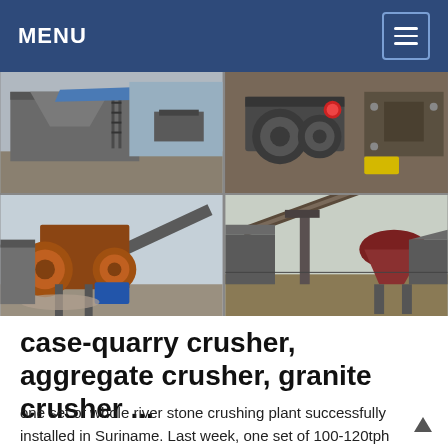MENU
[Figure (photo): Four photos of quarry crusher and stone crushing plant equipment: top-left shows a large industrial hopper/conveyor structure outdoors; top-right shows close-up of crusher machinery rolls; bottom-left shows a jaw crusher with flywheel and conveyor belt; bottom-right shows a cone crusher with conveyor structure in open field.]
case-quarry crusher, aggregate crusher, granite crusher ...
one set of whole river stone crushing plant successfully installed in Suriname. Last week, one set of 100-120tph stone crusher plant was installed in Suriname,south